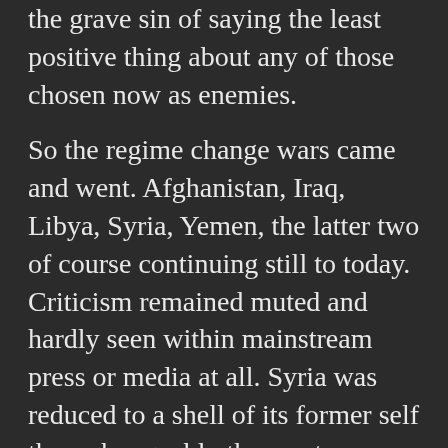the grave sin of saying the least positive thing about any of those chosen now as enemies.
So the regime change wars came and went. Afghanistan, Iraq, Libya, Syria, Yemen, the latter two of course continuing still to today. Criticism remained muted and hardly seen within mainstream press or media at all. Syria was reduced to a shell of its former self through arguably the most reprehensible tactic ever used in wartime, a louder harmonic of a previous exercise in Seventies Afghanistan, proxy fighters. In Syria they were much less acceptable that in the Seventies however, in fact they were downright evil in most cases.
Was the world minded to sanction America and